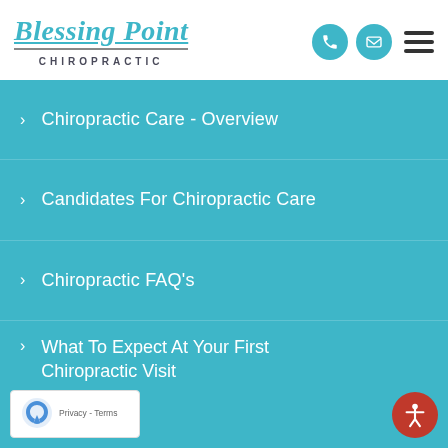Blessing Point Chiropractic
Chiropractic Care - Overview
Candidates For Chiropractic Care
Chiropractic FAQ's
What To Expect At Your First Chiropractic Visit